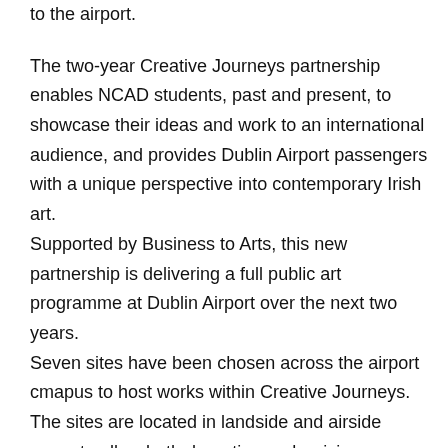to the airport. The two-year Creative Journeys partnership enables NCAD students, past and present, to showcase their ideas and work to an international audience, and provides Dublin Airport passengers with a unique perspective into contemporary Irish art. Supported by Business to Arts, this new partnership is delivering a full public art programme at Dublin Airport over the next two years. Seven sites have been chosen across the airport cmapus to host works within Creative Journeys. The sites are located in landside and airside areas to allow both departing and arriving passengers to view the works of art. Dublin Airport would like to ewelcome memebers of the public to the airport on Culture Night to view the various installations in the puclicly accessible areas.